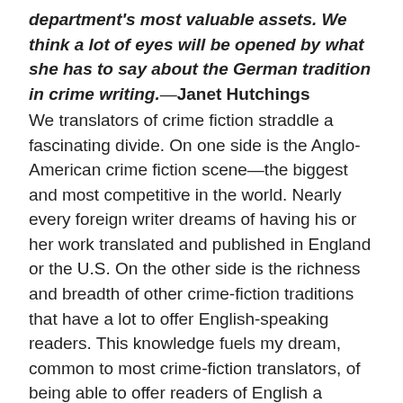department's most valuable assets. We think a lot of eyes will be opened by what she has to say about the German tradition in crime writing.—Janet Hutchings
We translators of crime fiction straddle a fascinating divide. On one side is the Anglo-American crime fiction scene—the biggest and most competitive in the world. Nearly every foreign writer dreams of having his or her work translated and published in England or the U.S. On the other side is the richness and breadth of other crime-fiction traditions that have a lot to offer English-speaking readers. This knowledge fuels my dream, common to most crime-fiction translators, of being able to offer readers of English a brilliant translation of a really good foreign crime novel that has them beating down their booksellers' doors asking for more. Oh, and earns me a million bucks and lets me leave my commercial translator's existence for a